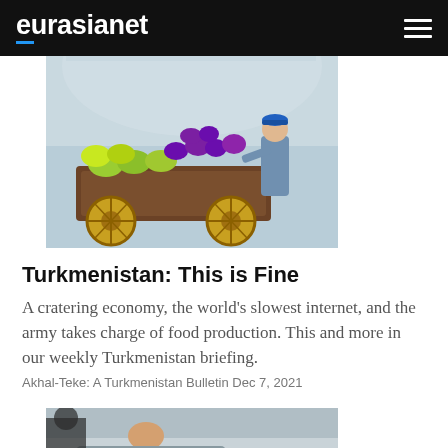eurasianet
[Figure (photo): A worker in a blue cap arranges colorful fruits and vegetables (eggplants, melons, grapes) on a decorative wooden cart with yellow wheels inside a market or store with ornate ceiling.]
Turkmenistan: This is Fine
A cratering economy, the world’s slowest internet, and the army takes charge of food production. This and more in our weekly Turkmenistan briefing.
Akhal-Teke: A Turkmenistan Bulletin Dec 7, 2021
[Figure (photo): Partial photo visible at bottom — appears to show a person lying in a hospital or care setting, with patterned bedding visible.]